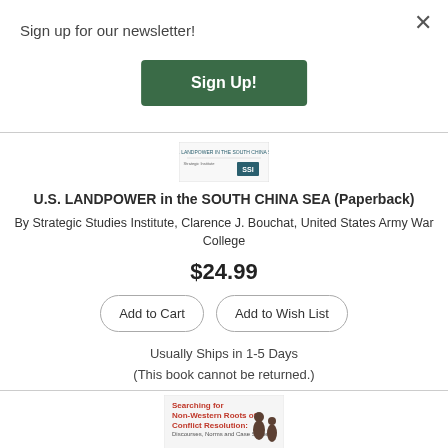Sign up for our newsletter!
Sign Up!
[Figure (illustration): Small book cover thumbnail for U.S. Landpower in the South China Sea with SSI logo]
U.S. LANDPOWER in the SOUTH CHINA SEA (Paperback)
By Strategic Studies Institute, Clarence J. Bouchat, United States Army War College
$24.99
Add to Cart
Add to Wish List
Usually Ships in 1-5 Days
(This book cannot be returned.)
[Figure (illustration): Partial book cover for Searching for Non-Western Roots of Conflict Resolution: Discourses, Norms and Case Studies]